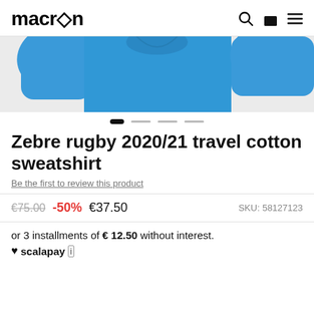macron
[Figure (photo): Blue cotton sweatshirt product photo on light grey background, partially cropped at top]
Zebre rugby 2020/21 travel cotton sweatshirt
Be the first to review this product
€75.00  -50%  €37.50   SKU: 58127123
or 3 installments of € 12.50 without interest.
♥scalapay ⓘ